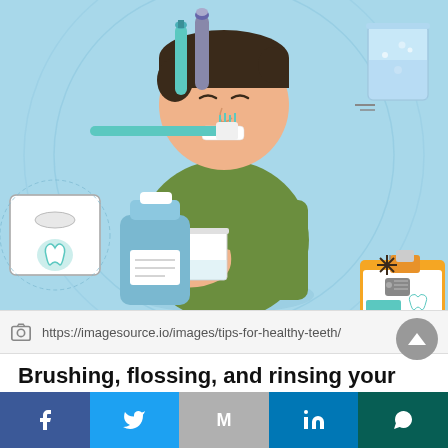[Figure (illustration): Illustration of a person brushing teeth, holding a glass of water. Surrounding dental hygiene items: mouthwash bottle, dental floss box, toothbrush and toothpaste, glass of water, dental clipboard with tooth icon. Light blue background with circular line motifs.]
https://imagesource.io/images/tips-for-healthy-teeth/
Brushing, flossing, and rinsing your mouth are